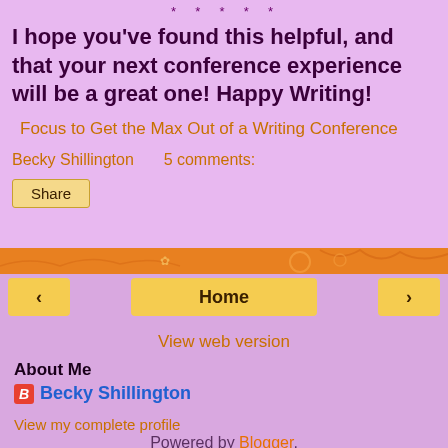* * * * *
I hope you've found this helpful, and that your next conference experience will be a great one! Happy Writing!
Focus to Get the Max Out of a Writing Conference
Becky Shillington    5 comments:
Share
‹
Home
›
View web version
About Me
Becky Shillington
View my complete profile
Powered by Blogger.